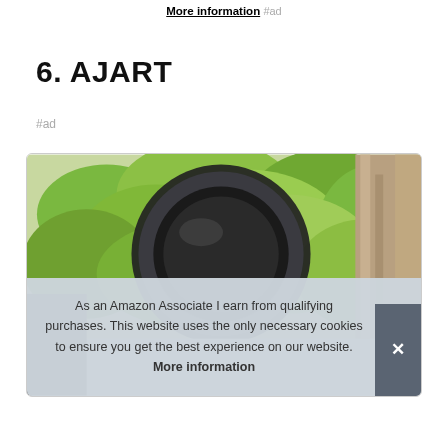More information #ad
6. AJART
#ad
[Figure (photo): Product photo showing a circular camera lens or filter against a green leafy background with a tree trunk on the right side.]
As an Amazon Associate I earn from qualifying purchases. This website uses the only necessary cookies to ensure you get the best experience on our website. More information